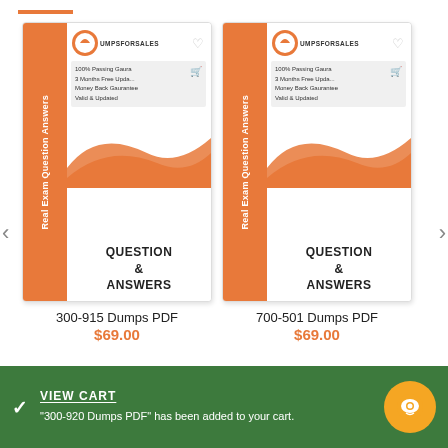[Figure (screenshot): Product card for 300-915 Dumps PDF showing exam preparation book cover with orange spine labeled 'Real Exam Question Answers', DumpsForSales logo, features list, wave graphic, and QUESTION & ANSWERS text]
300-915 Dumps PDF
$69.00
[Figure (screenshot): Product card for 700-501 Dumps PDF showing exam preparation book cover with orange spine labeled 'Real Exam Question Answers', DumpsForSales logo, features list, wave graphic, and QUESTION & ANSWERS text]
700-501 Dumps PDF
$69.00
VIEW CART
"300-920 Dumps PDF" has been added to your cart.